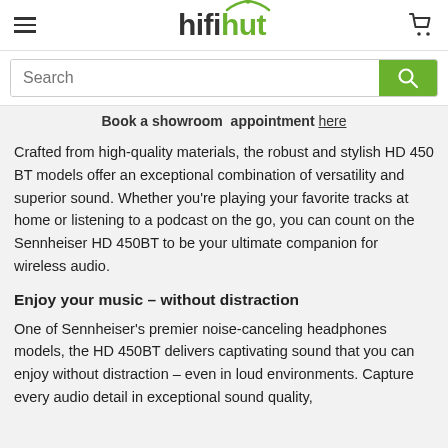hifihut
Search
Book a showroom  appointment here
Crafted from high-quality materials, the robust and stylish HD 450 BT models offer an exceptional combination of versatility and superior sound. Whether you're playing your favorite tracks at home or listening to a podcast on the go, you can count on the Sennheiser HD 450BT to be your ultimate companion for wireless audio.
Enjoy your music – without distraction
One of Sennheiser's premier noise-canceling headphones models, the HD 450BT delivers captivating sound that you can enjoy without distraction – even in loud environments. Capture every audio detail in exceptional sound quality,